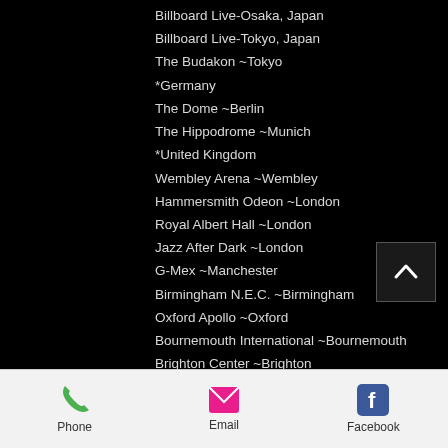Billboard Live-Osaka, Japan
Billboard Live-Tokyo, Japan
The Budakon ~Tokyo
*Germany
The Dome ~Berlin
The Hippodrome ~Munich
*United Kingdom
Wembley Arena ~Wembley
Hammersmith Odeon ~London
Royal Albert Hall ~London
Jazz After Dark ~London
G-Mex ~Manchester
Birmingham N.E.C. ~Birmingham
Oxford Apollo ~Oxford
Bournemouth International ~Bournemouth
Brighton Center ~Brighton
Bristol Hippodrome ~Bristol
Nottingham Royal Center ~Nottingham
Sheffield City Hall ~Sheffield
Phone   Email   Facebook